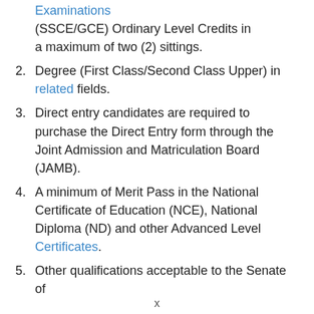1. [partial/clipped] A minimum of 5 credits in the Senior Secondary Certificate Examinations (SSCE/GCE) Ordinary Level Credits in a maximum of two (2) sittings.
2. Degree (First Class/Second Class Upper) in related fields.
3. Direct entry candidates are required to purchase the Direct Entry form through the Joint Admission and Matriculation Board (JAMB).
4. A minimum of Merit Pass in the National Certificate of Education (NCE), National Diploma (ND) and other Advanced Level Certificates.
5. Other qualifications acceptable to the Senate of [clipped]